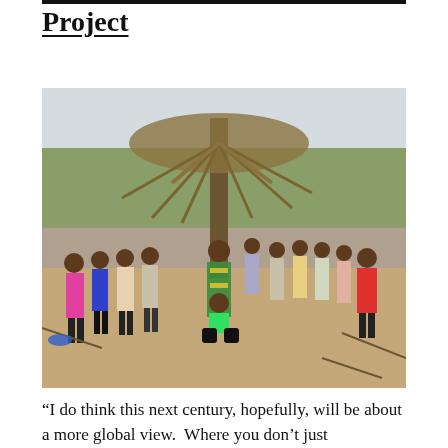Project
[Figure (photo): A group of approximately 20 people standing outdoors in a rural agricultural setting beneath a large palm tree with dry fronds, on sandy soil with some green plants visible. The group includes men and women in colorful African clothing and casual Western dress. One person is crouching in the foreground wearing a green shirt and dark shorts.]
“I do think this next century, hopefully, will be about a more global view. Where you don’t just